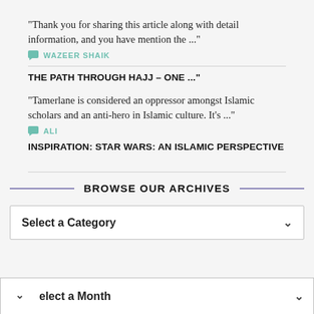"Thank you for sharing this article along with detail information, and you have mention the ..."
WAZEER SHAIK
THE PATH THROUGH HAJJ – ONE ..."
"Tamerlane is considered an oppressor amongst Islamic scholars and an anti-hero in Islamic culture. It's ..."
ALI
INSPIRATION: STAR WARS: AN ISLAMIC PERSPECTIVE
BROWSE OUR ARCHIVES
Select a Category
elect a Month